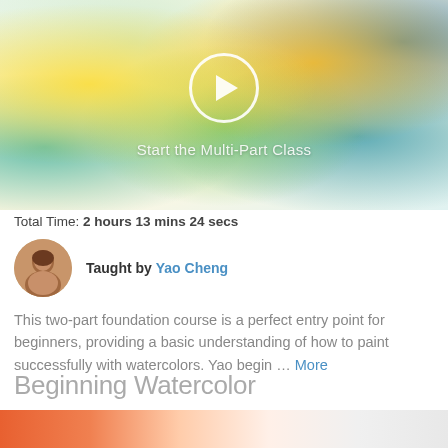[Figure (screenshot): Video thumbnail showing colorful watercolor brush strokes in yellow, green, teal, and blue with a play button circle overlay and text 'Start the Multi-Part Class']
Total Time: 2 hours 13 mins 24 secs
[Figure (photo): Circular avatar photo of instructor Yao Cheng]
Taught by Yao Cheng
This two-part foundation course is a perfect entry point for beginners, providing a basic understanding of how to paint successfully with watercolors. Yao begin … More
Beginning Watercolor
[Figure (photo): Partial thumbnail of Beginning Watercolor course showing art supplies on a table]